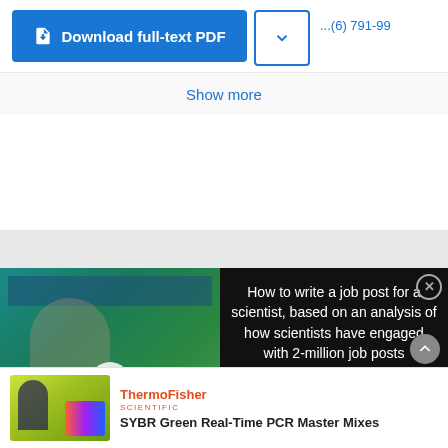[Figure (screenshot): Blue 'Download full-text PDF' button with document icon on left, and a dropdown chevron button on the right with blue border]
Show more
[Figure (screenshot): Video thumbnail showing a woman in an office environment with text overlay 'HOW TO WRITE A JOB POST FOR A SCIENTIST' with a play button, next to a black panel with text 'How to write a job post for a scientist, based on an analysis of how scientists have engaged with 2-million job posts']
[Figure (screenshot): Thermo Fisher Scientific advertisement for SYBR Green Real-Time PCR Master Mixes, with image of scientist and colorful lab equipment on yellow-green background]